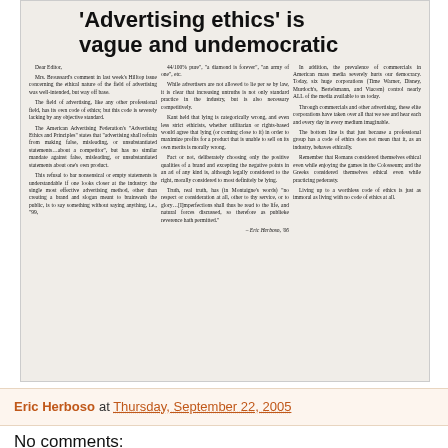[Figure (photo): Scanned newspaper clipping with article title ''Advertising ethics' is vague and undemocratic' and three-column body text, signed by Eric Herboso, '06]
Eric Herboso at Thursday, September 22, 2005
No comments: